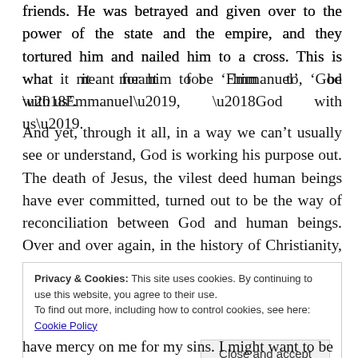friends. He was betrayed and given over to the power of the state and the empire, and they tortured him and nailed him to a cross. This is what it meant for him to be ‘Emmanuel’, ‘God with us’.
And yet, through it all, in a way we can’t usually see or understand, God is working his purpose out. The death of Jesus, the vilest deed human beings have ever committed, turned out to be the way of reconciliation between God and human beings. Over and over again, in the history of Christianity, the sufferings of God’s
Privacy & Cookies: This site uses cookies. By continuing to use this website, you agree to their use.
To find out more, including how to control cookies, see here: Cookie Policy
have mercy on me for my sins. I might want to be